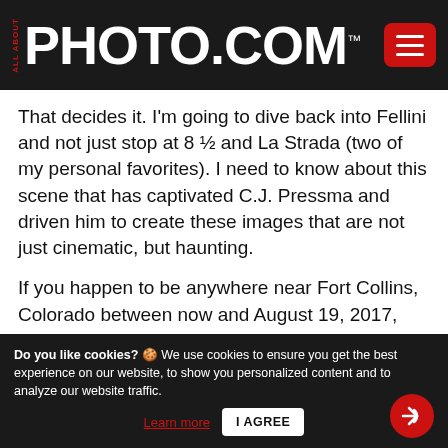ALL ABOUT PHOTO.COM
That decides it. I'm going to dive back into Fellini and not just stop at 8 ½ and La Strada (two of my personal favorites). I need to know about this scene that has captivated C.J. Pressma and driven him to create these images that are not just cinematic, but haunting.
If you happen to be anywhere near Fort Collins, Colorado between now and August 19, 2017, Pressma's photograph of the legs (which I recently learned is titled, Honeymoon on the Beach, adding even more intrigue to the image) will be on view at the Center for Fine Art
Do you like cookies? 🍪 We use cookies to ensure you get the best experience on our website, to show you personalized content and to analyze our website traffic. Learn more  I AGREE